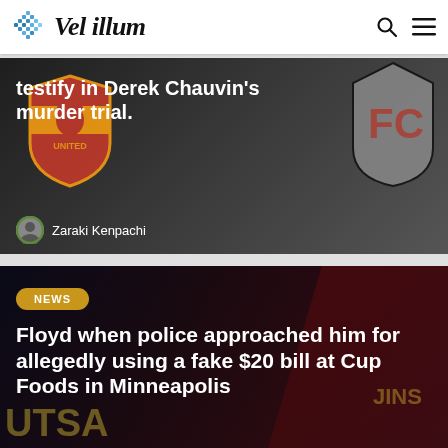Vel illum
[Figure (photo): Dark background with Manchester United and Fulham FC football club logos; headline about testifying in Derek Chauvin's murder trial with author Zaraki Kenpachi]
testify in Derek Chauvin's murder trial.
Zaraki Kenpachi
[Figure (photo): Dark background with sports logos; NEWS badge; headline about Floyd when police approached him]
NEWS
Floyd when police approached him for allegedly using a fake $20 bill at Cup Foods in Minneapolis